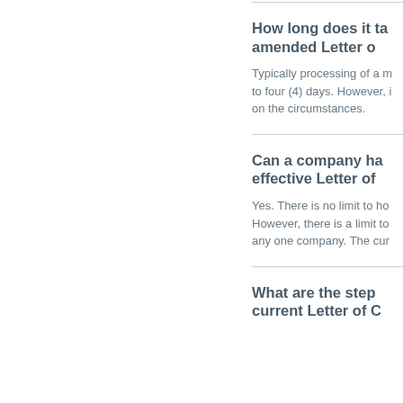How long does it take to get an amended Letter o…
Typically processing of a m… to four (4) days. However, i… on the circumstances.
Can a company ha… effective Letter of…
Yes. There is no limit to ho… However, there is a limit to… any one company. The cur…
What are the step… current Letter of C…